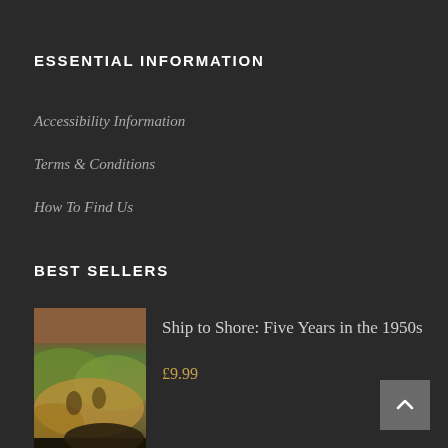ESSENTIAL INFORMATION
Accessibility Information
Terms & Conditions
How To Find Us
BEST SELLERS
[Figure (photo): Book cover: Ship to Shore: Five Years in the 1950s by Hazel Hutchinson, showing a colorful illustrated maritime scene]
Ship to Shore: Five Years in the 1950s
£9.99